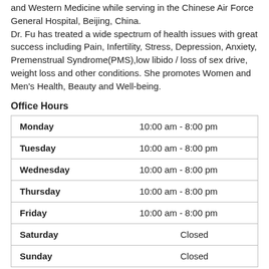and Western Medicine while serving in the Chinese Air Force General Hospital, Beijing, China. Dr. Fu has treated a wide spectrum of health issues with great success including Pain, Infertility, Stress, Depression, Anxiety, Premenstrual Syndrome(PMS),low libido / loss of sex drive, weight loss and other conditions. She promotes Women and Men's Health, Beauty and Well-being.
Office Hours
| Day | Hours |
| --- | --- |
| Monday | 10:00 am - 8:00 pm |
| Tuesday | 10:00 am - 8:00 pm |
| Wednesday | 10:00 am - 8:00 pm |
| Thursday | 10:00 am - 8:00 pm |
| Friday | 10:00 am - 8:00 pm |
| Saturday | Closed |
| Sunday | Closed |